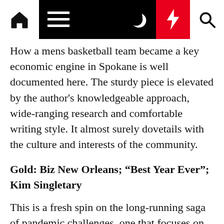Navigation bar with home, menu, moon, bolt, and search icons
How a mens basketball team became a key economic engine in Spokane is well documented here. The sturdy piece is elevated by the author's knowledgeable approach, wide-ranging research and comfortable writing style. It almost surely dovetails with the culture and interests of the community.
Gold: Biz New Orleans; “Best Year Ever”; Kim Singletary
This is a fresh spin on the long-running saga of pandemic challenges, one that focuses on six unconventional success stories. A brand of red beans, a bike and toy store, a gift shop, a local plastic surgeon, a professional dog trainer and a mental health center are among them. The tales are told briskly and concisely, leaving the reader happily